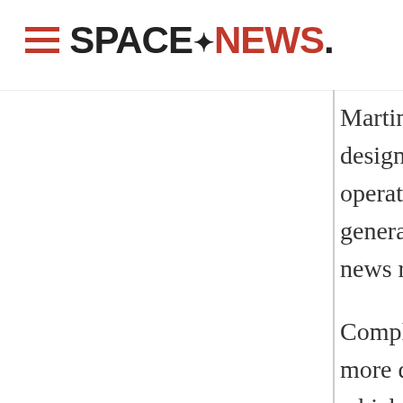SpaceNews
Martin's blueprints plans for the Mobile Objective System designed by Lockheed will support the Navy's concept of operations, will be compatible with the Navy's current generation of UHF Follow-On spacecraft, according to the news release.
Completion of the review allows Lockheed can now to begin more detailed design and development work on the satellites, which are slated to begin launching early in the next decade, according to the news release.
Lockheed Martin won a $2.1 billion contract autumn fall to build the first two Mobile Objective System satellites. The contract...